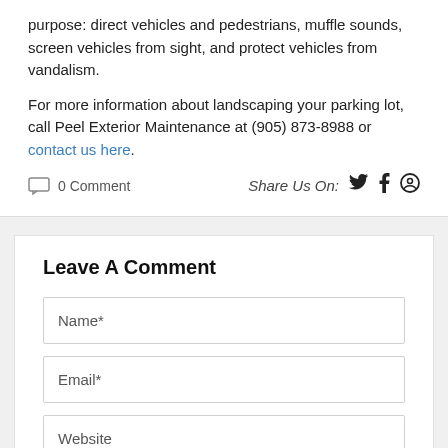purpose: direct vehicles and pedestrians, muffle sounds, screen vehicles from sight, and protect vehicles from vandalism.
For more information about landscaping your parking lot, call Peel Exterior Maintenance at (905) 873-8988 or contact us here.
0 Comment   Share Us On:
Leave A Comment
Name*
Email*
Website
Questions/Comments*